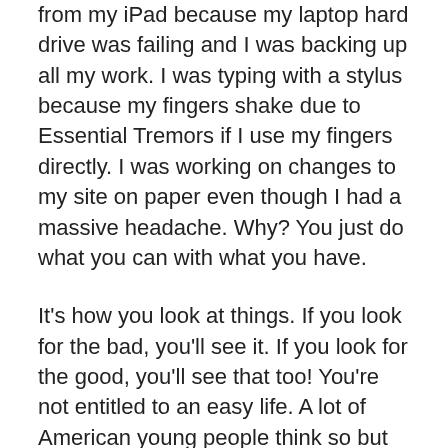from my iPad because my laptop hard drive was failing and I was backing up all my work. I was typing with a stylus because my fingers shake due to Essential Tremors if I use my fingers directly. I was working on changes to my site on paper even though I had a massive headache. Why? You just do what you can with what you have.
It's how you look at things. If you look for the bad, you'll see it. If you look for the good, you'll see that too! You're not entitled to an easy life. A lot of American young people think so but it's not true. The founding fathers knew this. We with chronic illness know this all too well.
If I go back a generation in my family, I see a much stronger work ethic than I see today. My great grandparents and my grandfather came to this country from what was then Russian to start over with nothing. My grandfather didn't speak the language, but he